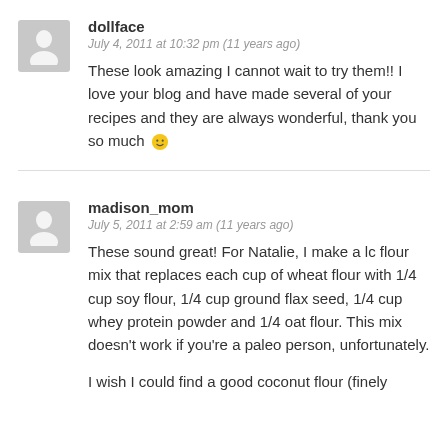dollface
July 4, 2011 at 10:32 pm (11 years ago)
These look amazing I cannot wait to try them!! I love your blog and have made several of your recipes and they are always wonderful, thank you so much 🙂
madison_mom
July 5, 2011 at 2:59 am (11 years ago)
These sound great! For Natalie, I make a lc flour mix that replaces each cup of wheat flour with 1/4 cup soy flour, 1/4 cup ground flax seed, 1/4 cup whey protein powder and 1/4 oat flour. This mix doesn't work if you're a paleo person, unfortunately.
I wish I could find a good coconut flour (finely